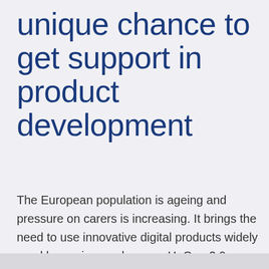unique chance to get support in product development
The European population is ageing and pressure on carers is increasing. It brings the need to use innovative digital products widely used by seniors and carers. HoCare2.0 project offers SMEs to join pilot